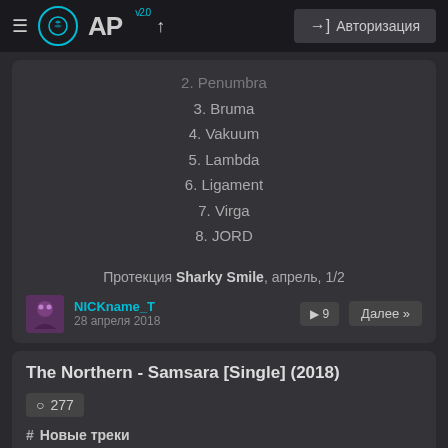≡ AP v2.0 ↑  → Авторизация
2. Penumbra
3. Bruma
4. Vakuum
5. Lambda
6. Ligament
7. Virga
8. JORD
Протекция Sharky Smile, апрель, 1/2
NICKname_T
28 апреля 2018
The Northern - Samsara [Single] (2018)
277
# Новые треки
The Northern - Samsara [Single] (2018)